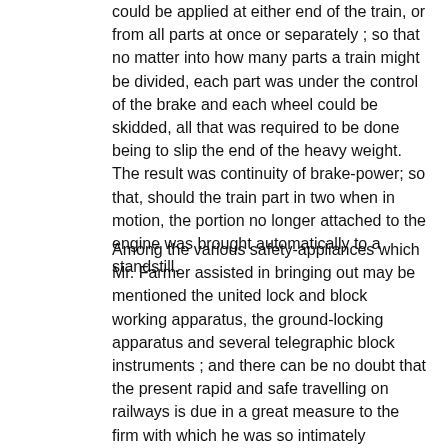could be applied at either end of the train, or from all parts at once or separately ; so that no matter into how many parts a train might be divided, each part was under the control of the brake and each wheel could be skidded, all that was required to be done being to slip the end of the heavy weight. The result was continuity of brake-power; so that, should the train part in two when in motion, the portion no longer attached to the engine was brought automatically to a standstill.
Among the various safety-appliances which Mr. Farmer assisted in bringing out may be mentioned the united lock and block working apparatus, the ground-locking apparatus and several telegraphic block instruments ; and there can be no doubt that the present rapid and safe travelling on railways is due in a great measure to the firm with which he was so intimately connected for upwards of thirty years. Mr. Farmer died suddenly, from heart disease, at Ifold, near Billingshurst, in Sussex, on the evening of the 12th of December, 1892.